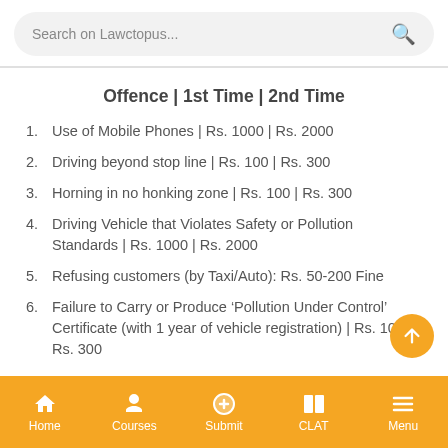Search on Lawctopus...
Offence | 1st Time | 2nd Time
Use of Mobile Phones | Rs. 1000 | Rs. 2000
Driving beyond stop line | Rs. 100 | Rs. 300
Horning in no honking zone | Rs. 100 | Rs. 300
Driving Vehicle that Violates Safety or Pollution Standards | Rs. 1000 | Rs. 2000
Refusing customers (by Taxi/Auto): Rs. 50-200 Fine
Failure to Carry or Produce ‘Pollution Under Control’ Certificate (with 1 year of vehicle registration) | Rs. 100 | Rs. 300
Home | Courses | Submit | CLAT | Menu